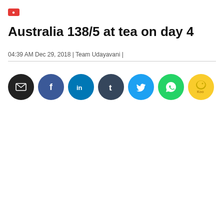Australia 138/5 at tea on day 4
04:39 AM Dec 29, 2018 | Team Udayavani |
[Figure (infographic): Row of social share buttons: email (black), Facebook (blue), LinkedIn (blue), Tumblr (dark slate), Twitter (light blue), WhatsApp (green), Koo (yellow)]